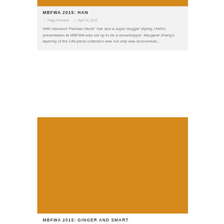MBFWA 2015: HAN
Paige Richards   April 14, 2015
With standout 'Parisian Monk" hair and a super blogger styling, HAN's presentation at MBFWA was set up to be a showstopper. Margaret Zhang's layering of the 140-piece collection was not only was economical,...
[Figure (photo): Large orange/amber colored rectangular image block, placeholder for a fashion photo]
MBFWA 2015: GINGER AND SMART